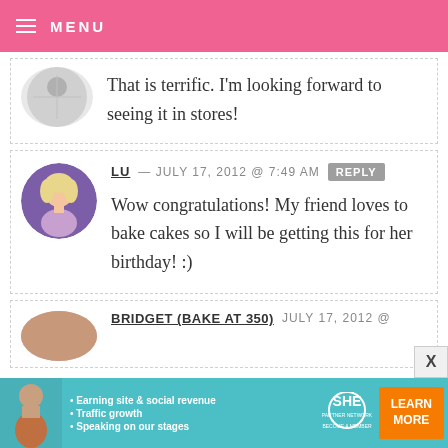MENU
That is terrific. I'm looking forward to seeing it in stores!
LU — JULY 17, 2012 @ 7:49 AM REPLY
Wow congratulations! My friend loves to bake cakes so I will be getting this for her birthday! :)
BRIDGET (BAKE AT 350) — JULY 17, 2012 @
[Figure (infographic): SHE Partner Network advertisement banner with photo of woman, bullet points: Earning site & social revenue, Traffic growth, Speaking on our stages, SHE logo, BECOME A MEMBER text, and LEARN MORE orange button]